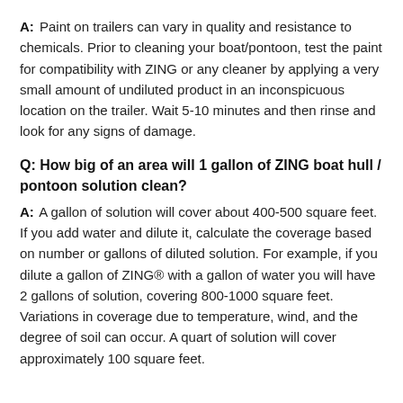A: Paint on trailers can vary in quality and resistance to chemicals. Prior to cleaning your boat/pontoon, test the paint for compatibility with ZING or any cleaner by applying a very small amount of undiluted product in an inconspicuous location on the trailer. Wait 5-10 minutes and then rinse and look for any signs of damage.
Q: How big of an area will 1 gallon of ZING boat hull / pontoon solution clean?
A: A gallon of solution will cover about 400-500 square feet. If you add water and dilute it, calculate the coverage based on number or gallons of diluted solution. For example, if you dilute a gallon of ZING® with a gallon of water you will have 2 gallons of solution, covering 800-1000 square feet. Variations in coverage due to temperature, wind, and the degree of soil can occur. A quart of solution will cover approximately 100 square feet.